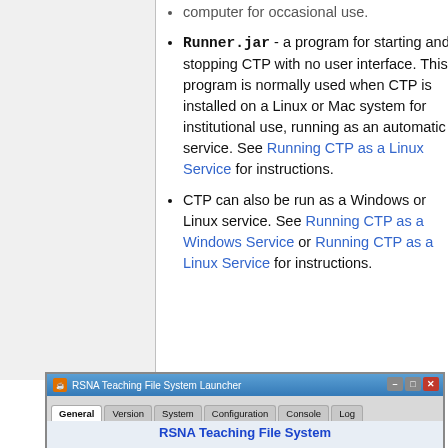computer for occasional use.
Runner.jar - a program for starting and stopping CTP with no user interface. This program is normally used when CTP is installed on a Linux or Mac system for institutional use, running as an automatic service. See Running CTP as a Linux Service for instructions.
CTP can also be run as a Windows or Linux service. See Running CTP as a Windows Service or Running CTP as a Linux Service for instructions.
[Figure (screenshot): Screenshot of RSNA Teaching File System Launcher application window showing tabs: General, Version, System, Configuration, Console, Log. The General tab is active showing 'RSNA Teaching File System' title in blue bold text, with a Server Parameters section below.]